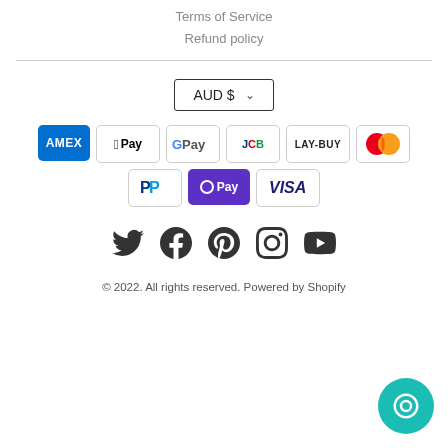Terms of Service
Refund policy
[Figure (infographic): AUD $ currency selector dropdown box]
[Figure (infographic): Payment method icons: AMEX, Apple Pay, Google Pay, JCB, LAY-BUY, Mastercard, PayPal, OPay, VISA]
[Figure (infographic): Social media icons: Twitter, Facebook, Pinterest, Instagram, YouTube]
© 2022. All rights reserved. Powered by Shopify